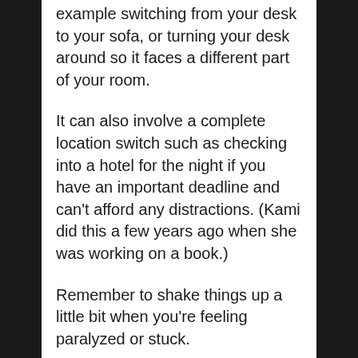example switching from your desk to your sofa, or turning your desk around so it faces a different part of your room.
It can also involve a complete location switch such as checking into a hotel for the night if you have an important deadline and can't afford any distractions. (Kami did this a few years ago when she was working on a book.)
Remember to shake things up a little bit when you're feeling paralyzed or stuck.
We all lose our motivation from time to time, so having a toolbox of tricks to pull from will get you back on track!